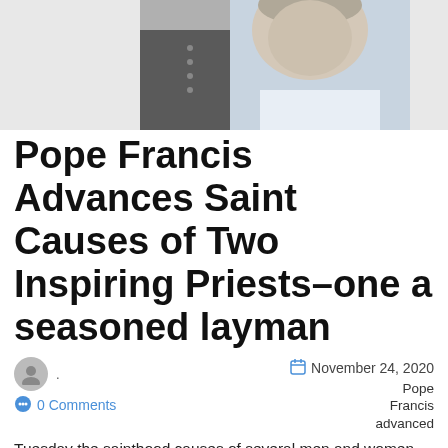[Figure (photo): Black and white photo of a person, cropped at top, showing head and shoulders against a light background]
Pope Francis Advances Saint Causes of Two Inspiring Priests–one a seasoned layman
November 24, 2020  Pope Francis advanced
0 Comments
Tuesday the sainthood causes of several men and women, including two Italian priests of the 20th century — one who was ordained at age 23 and another who was ordained at 65, after a lay career and a lifetime of serving the poor. Venerable Fr. Mario Ciceri knew his vocation from a…